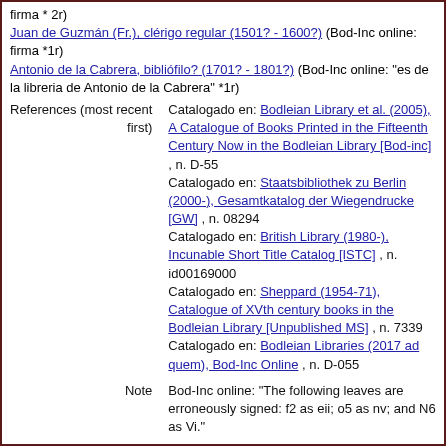firma * 2r) Juan de Guzmán (Fr.), clérigo regular (1501? - 1600?) (Bod-Inc online: firma *1r) Antonio de la Cabrera, bibliófilo? (1701? - 1801?) (Bod-Inc online: "es de la libreria de Antonio de la Cabrera" *1r)
References (most recent first): Catalogado en: Bodleian Library et al. (2005), A Catalogue of Books Printed in the Fifteenth Century Now in the Bodleian Library [Bod-inc], n. D-55; Catalogado en: Staatsbibliothek zu Berlin (2000-), Gesamtkatalog der Wiegendrucke [GW], n. 08294; Catalogado en: British Library (1980-), Incunable Short Title Catalog [ISTC], n. id00169000; Catalogado en: Sheppard (1954-71), Catalogue of XVth century books in the Bodleian Library [Unpublished MS], n. 7339; Catalogado en: Bodleian Libraries (2017 ad quem), Bod-Inc Online, n. D-055
Note: Bod-Inc online: "The following leaves are erroneously signed: f2 as eii; o5 as nv; and N6 as Vi."
Record Status: Created 1985-07-10 Updated 2020-03-23